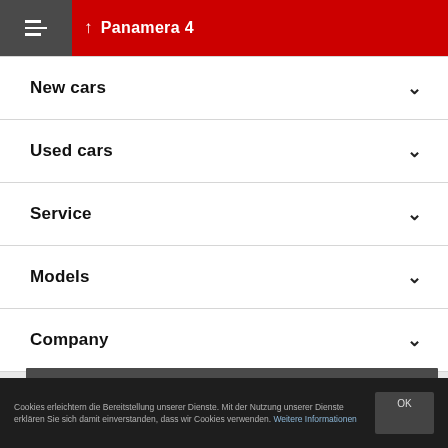↑ Panamera 4
New cars
Used cars
Service
Models
Company
Share page
Cookies erleichtern die Bereitstellung unserer Dienste. Mit der Nutzung unserer Dienste erklären Sie sich damit einverstanden, dass wir Cookies verwenden. Weitere Informationen